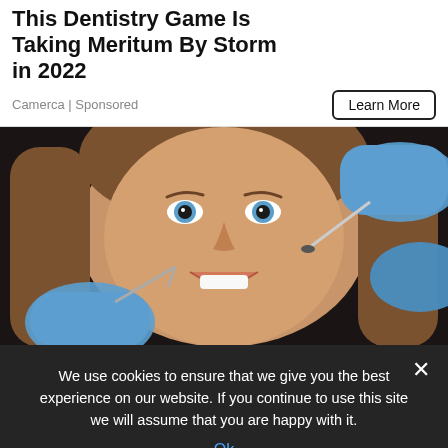This Dentistry Game Is Taking Meritum By Storm in 2022
Camerca | Sponsored
[Figure (photo): A young woman smiling at a dental exam with gloved hands holding dental instruments near her mouth, dark background.]
We use cookies to ensure that we give you the best experience on our website. If you continue to use this site we will assume that you are happy with it.
Ok